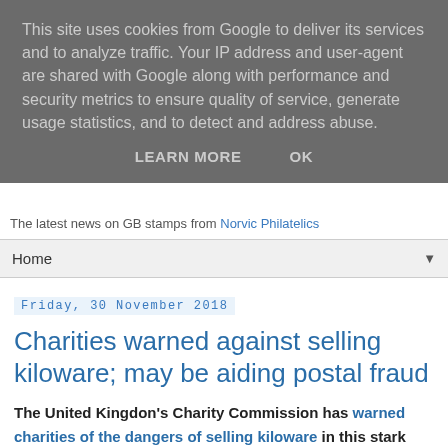This site uses cookies from Google to deliver its services and to analyze traffic. Your IP address and user-agent are shared with Google along with performance and security metrics to ensure quality of service, generate usage statistics, and to detect and address abuse.
LEARN MORE    OK
The latest news on GB stamps from Norvic Philatelics
Home ▼
Friday, 30 November 2018
Charities warned against selling kiloware; may be aiding postal fraud
The United Kingdon's Charity Commission has warned charities of the dangers of selling kiloware in this stark warning on it's media website.
News story - 30 November 2018
Alert for charities – fundraising